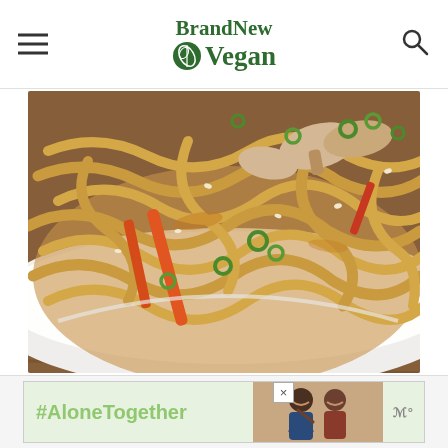BrandNew Vegan
[Figure (photo): Close-up photo of a bowl of udon noodle stir-fry with carrots, mushrooms, green onions, and sesame seeds in a savory sauce on a white plate on a wooden surface]
[Figure (photo): Advertisement banner with text '#AloneTogether' on light green background with a photo of two people smiling and waving, and a logo on the right]